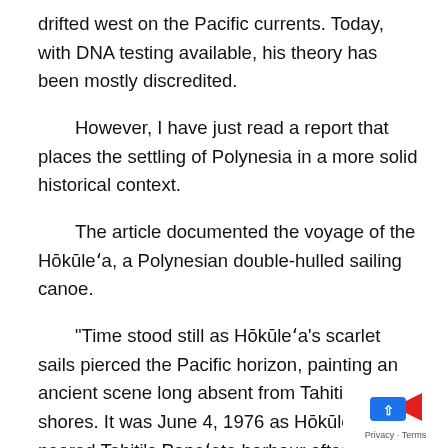drifted west on the Pacific currents. Today, with DNA testing available, his theory has been mostly discredited.
However, I have just read a report that places the settling of Polynesia in a more solid historical context.
The article documented the voyage of the Hōkūleʻa, a Polynesian double-hulled sailing canoe.
“Time stood still as Hōkūleʻa’s scarlet sails pierced the Pacific horizon, painting an ancient scene long absent from Tahiti’s shores. It was June 4, 1976 as Hōkūleʻa neared Tahiti’s Papeʻete harbour after 33 days at sea. Elders wept on the beach, absorbed by the moment’s enormity. Children scaled trees to snag views of the history that would soon unfold.